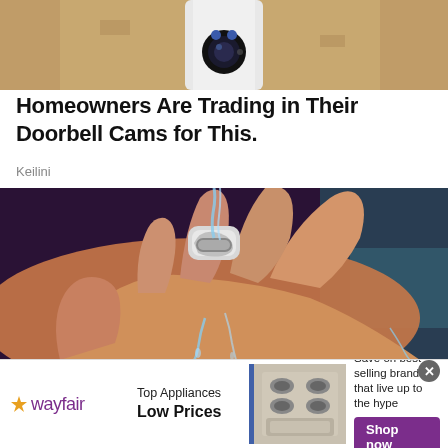[Figure (photo): Top portion of a doorbell camera device against a textured wall background]
Homeowners Are Trading in Their Doorbell Cams for This.
Keilini
[Figure (photo): A hand wearing a ring-like wearable device under running water]
[Figure (photo): Wayfair advertisement banner: Top Appliances Low Prices, Save on best selling brands that live up to the hype, Shop now button, with stove/appliance image]